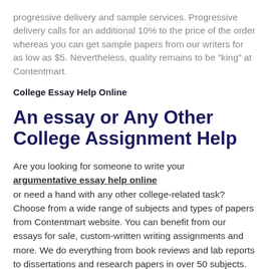progressive delivery and sample services. Progressive delivery calls for an additional 10% to the price of the order whereas you can get sample papers from our writers for as low as $5. Nevertheless, quality remains to be “king” at Contentmart.
College Essay Help Online
An essay or Any Other College Assignment Help
Are you looking for someone to write your argumentative essay help online or need a hand with any other college-related task? Choose from a wide range of subjects and types of papers from Contentmart website. You can benefit from our essays for sale, custom-written writing assignments and more. We do everything from book reviews and lab reports to dissertations and research papers in over 50 subjects. This is the best platform for you to find excellent argumentative essay help.